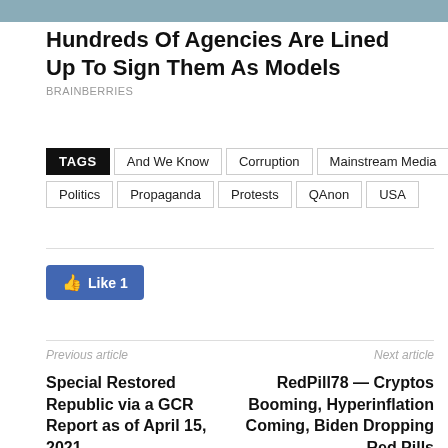[Figure (photo): Partial image strip at top of page]
Hundreds Of Agencies Are Lined Up To Sign Them As Models
BRAINBERRIES
TAGS  And We Know  Corruption  Mainstream Media  Politics  Propaganda  Protests  QAnon  USA
Like 1
Previous article
Next article
Special Restored Republic via a GCR Report as of April 15, 2021
RedPill78 — Cryptos Booming, Hyperinflation Coming, Biden Dropping Red Pills